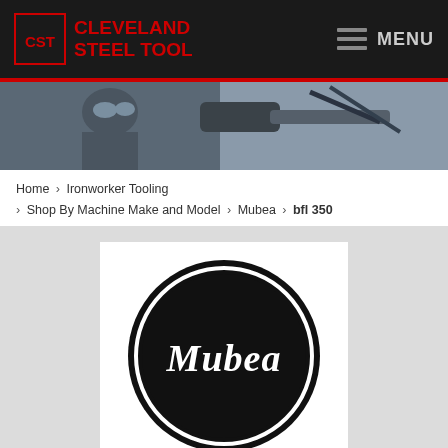CLEVELAND STEEL TOOL | MENU
[Figure (photo): Worker wearing safety glasses using a drill or heavy tool, industrial setting]
Home > Ironworker Tooling > Shop By Machine Make and Model > Mubea > bfl 350
[Figure (logo): Mubea circular logo — black circle with white ring and white italic 'Mubea' text inside]
MUBEA BFL 350